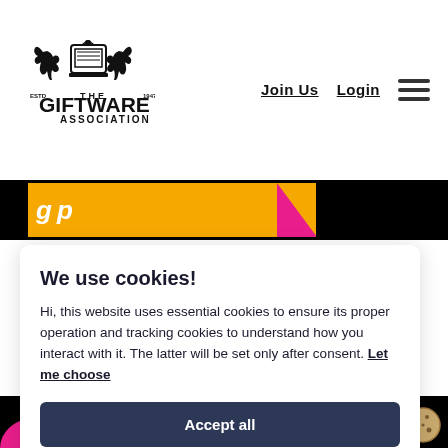[Figure (logo): The Giftware Association logo with heraldic horses and crest, ESTD 1947]
Join Us
Login
We use cookies!
Hi, this website uses essential cookies to ensure its proper operation and tracking cookies to understand how you interact with it. The latter will be set only after consent. Let me choose
Accept all
Reject all